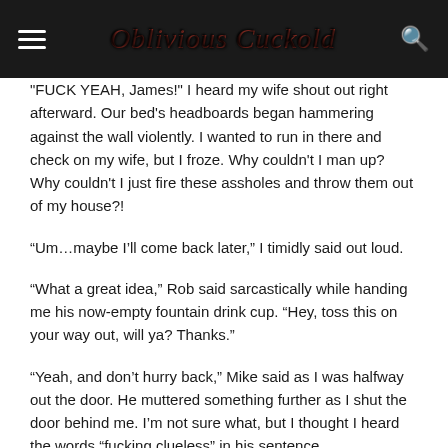Oblivious Cuckold
"FUCK YEAH, James!" I heard my wife shout out right afterward. Our bed's headboards began hammering against the wall violently. I wanted to run in there and check on my wife, but I froze. Why couldn't I man up? Why couldn't I just fire these assholes and throw them out of my house?!
“Um…maybe I’ll come back later,” I timidly said out loud.
“What a great idea,” Rob said sarcastically while handing me his now-empty fountain drink cup. “Hey, toss this on your way out, will ya? Thanks.”
“Yeah, and don’t hurry back,” Mike said as I was halfway out the door. He muttered something further as I shut the door behind me. I’m not sure what, but I thought I heard the words “fucking clueless” in his sentence.